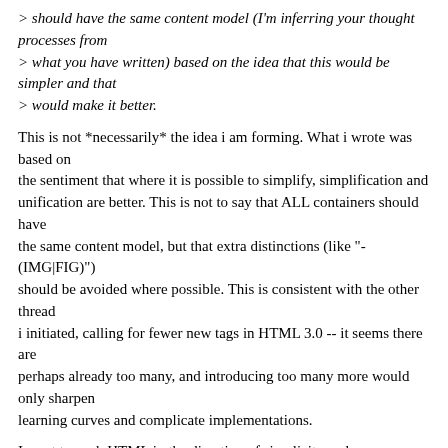> should have the same content model (I'm inferring your thought processes from
> what you have written) based on the idea that this would be simpler and that
> would make it better.
This is not *necessarily* the idea i am forming. What i wrote was based on
the sentiment that where it is possible to simplify, simplification and
unification are better. This is not to say that ALL containers should have
the same content model, but that extra distinctions (like "-(IMG|FIG)")
should be avoided where possible. This is consistent with the other thread
i initiated, calling for fewer new tags in HTML 3.0 -- it seems there are
perhaps already too many, and introducing too many more would only sharpen
learning curves and complicate implementations.
I want to push HTML in the direction of simplicity and orthogonality.
("As simple as necessary, but no simpler.")